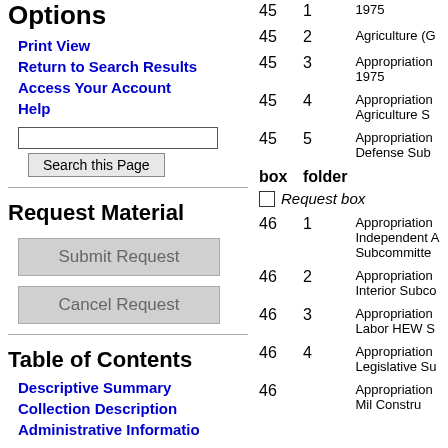Options
Print View
Return to Search Results
Access Your Account
Help
Request Material
Submit Request
Cancel Request
Table of Contents
Descriptive Summary
Collection Description
Administrative Information
| box | folder |  |
| --- | --- | --- |
| 45 | 1 | 1975 |
| 45 | 2 | Agriculture (G |
| 45 | 3 | Appropriation 1975 |
| 45 | 4 | Appropriation Agriculture S |
| 45 | 5 | Appropriation Defense Sub |
| box | folder |  |
|  |  | Request box |
| 46 | 1 | Appropriation Independent Subcommitte |
| 46 | 2 | Appropriation Interior Subco |
| 46 | 3 | Appropriation Labor HEW S |
| 46 | 4 | Appropriation Legislative Su |
| 46 |  | Appropriation Mil Constru |